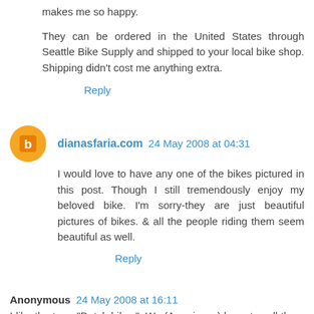makes me so happy.
They can be ordered in the United States through Seattle Bike Supply and shipped to your local bike shop. Shipping didn't cost me anything extra.
Reply
dianasfaria.com 24 May 2008 at 04:31
I would love to have any one of the bikes pictured in this post. Though I still tremendously enjoy my beloved bike. I'm sorry-they are just beautiful pictures of bikes. & all the people riding them seem beautiful as well.
Reply
Anonymous 24 May 2008 at 16:11
I like the term "Dutch bikes". We (Americans) have to call them something. We can't call them normal bikes because that brings to mind mountain bikes, or beach cruisers.